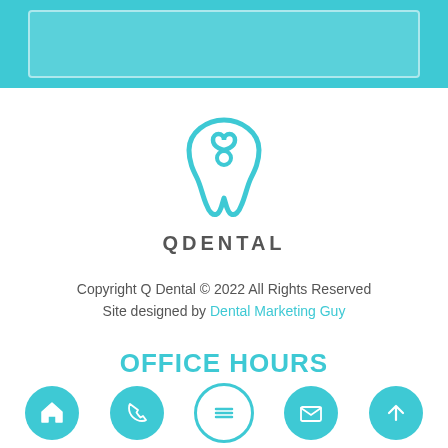[Figure (logo): QDental tooth logo with teal color and text QDENTAL below]
Copyright Q Dental © 2022 All Rights Reserved
Site designed by Dental Marketing Guy
OFFICE HOURS
Monday - Thursday
Icon bar with home, phone, menu, mail, and up-arrow icons